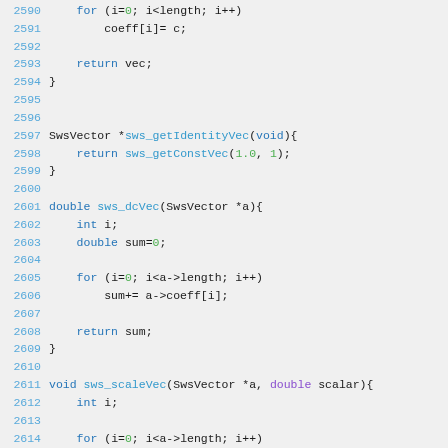Code listing lines 2590-2614 showing C functions: sws_getIdentityVec, sws_dcVec, sws_scaleVec